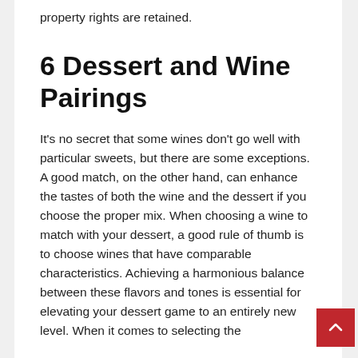property rights are retained.
6 Dessert and Wine Pairings
It's no secret that some wines don't go well with particular sweets, but there are some exceptions. A good match, on the other hand, can enhance the tastes of both the wine and the dessert if you choose the proper mix. When choosing a wine to match with your dessert, a good rule of thumb is to choose wines that have comparable characteristics. Achieving a harmonious balance between these flavors and tones is essential for elevating your dessert game to an entirely new level. When it comes to selecting the